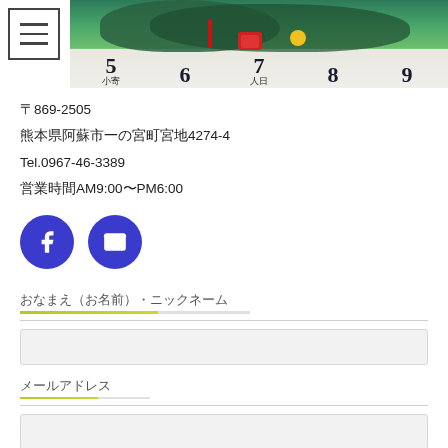[Figure (photo): Top banner: hamburger menu icon on left, colorful children's numbered art/painting on right showing numbers 5-9 with Japanese characters and decorative elements]
〒869-2505
熊本県阿蘇市一の宮町宮地4274-4
Tel.0967-46-3389
営業時間AM9:00〜PM6:00
[Figure (infographic): Two circular icon buttons: Facebook icon (f) and email/envelope icon, both in indigo/blue color]
おなまえ（お名前）・ニックネーム
[Figure (other): Form input field for name/nickname with yellow-green underline accent]
メールアドレス
[Figure (other): Form input field for email address with yellow-green underline accent]